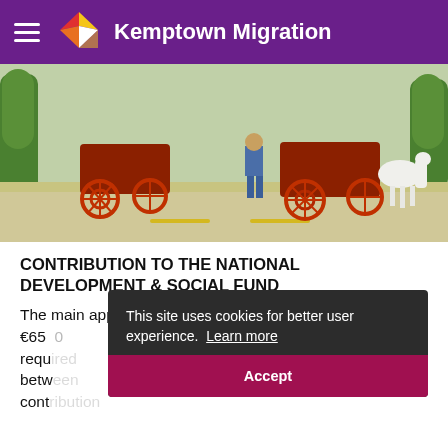Kemptown Migration
[Figure (photo): Outdoor street scene with horse-drawn carriages with red and gold spoked wheels, a white horse, and a person in jeans standing near the carriages. Trees visible on the sides.]
CONTRIBUTION TO THE NATIONAL DEVELOPMENT & SOCIAL FUND
The main applicant is required to contribute €650 [partially obscured]... required... between... contribution...
OWNERSHIP OR RENTAL OF PROPERTY
This site uses cookies for better user experience.  Learn more
Accept